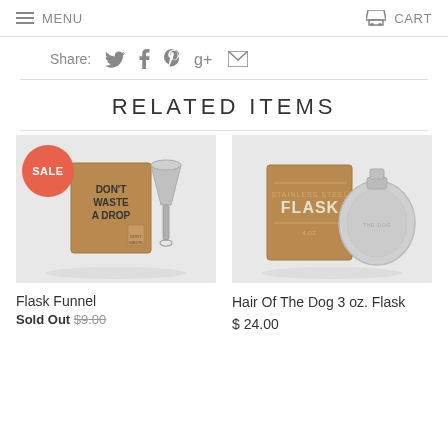MENU   CART
Share:
RELATED ITEMS
[Figure (photo): Flask Funnel product photo with brown box labeled DON'T WASTE A DROP and a metal funnel, with a red SALE badge]
Flask Funnel
Sold Out $9.00
[Figure (photo): Hair Of The Dog 3 oz. Flask product photo with a brown box labeled FLASK and a round silver flask]
Hair Of The Dog 3 oz. Flask
$24.00